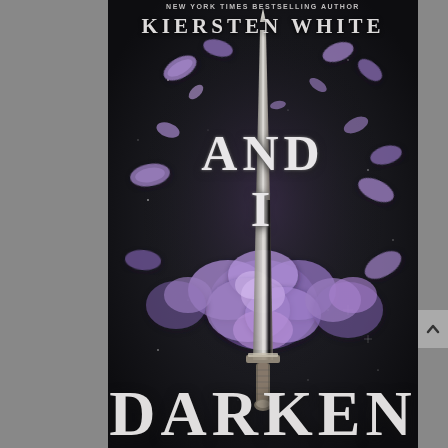[Figure (illustration): Book cover of 'And I Darken' by Kiersten White. Dark black background with purple flower petals scattered around a silver dagger/sword. Large purple peony flowers cluster around the middle of the sword. Title text 'AND I' appears in large silver serif letters in the upper middle portion, and 'DARKEN' in large silver letters at the bottom. Author name 'KIERSTEN WHITE' at top in silver letters with 'New York Times Bestselling Author' above it in smaller text.]